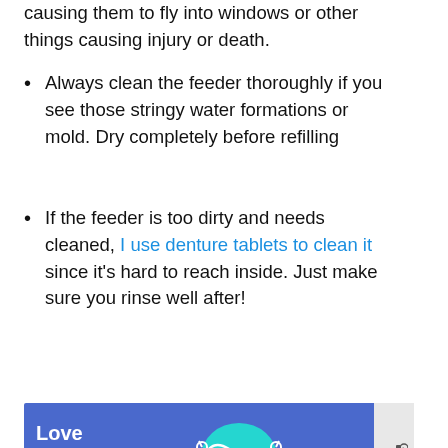causing them to fly into windows or other things causing injury or death.
Always clean the feeder thoroughly if you see those stringy water formations or mold. Dry completely before refilling
If the feeder is too dirty and needs cleaned, I use denture tablets to clean it since it's hard to reach inside. Just make sure you rinse well after!
[Figure (screenshot): Advertisement banner with blue background reading 'Love Your Smile.' with a teal dental product icon and #HelpByDesign hashtag]
This is a super short video, but after I refilled the feeder today, one hummingbird was chasing all the others away when they got near it! They were actually fighting over it. Too funny!
[Figure (screenshot): Bottom advertisement banner with 'Thank you!' text and Operation Gratitude logo showing firefighters]